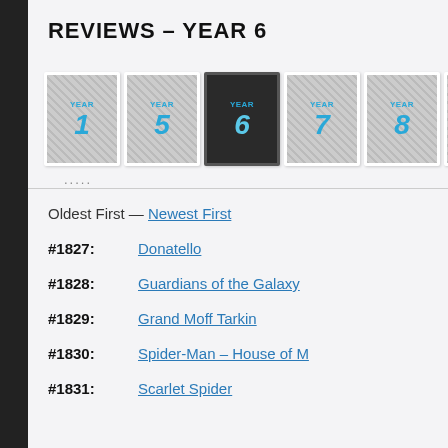REVIEWS – YEAR 6
[Figure (illustration): Row of numbered year thumbnail images: Year 1, Year 5, Year 6 (active/dark), Year 7, Year 8, Year 9 (partial)]
.....
Oldest First — Newest First
#1827:    Donatello
#1828:    Guardians of the Galaxy
#1829:    Grand Moff Tarkin
#1830:    Spider-Man – House of M
#1831:    Scarlet Spider